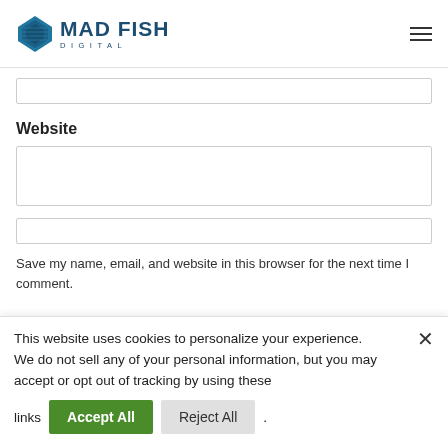[Figure (logo): Mad Fish Digital logo with blue diamond shape and text 'MAD FISH DIGITAL']
Website
Save my name, email, and website in this browser for the next time I comment.
This website uses cookies to personalize your experience.
We do not sell any of your personal information, but you may accept or opt out of tracking by using these links
Accept All  Reject All